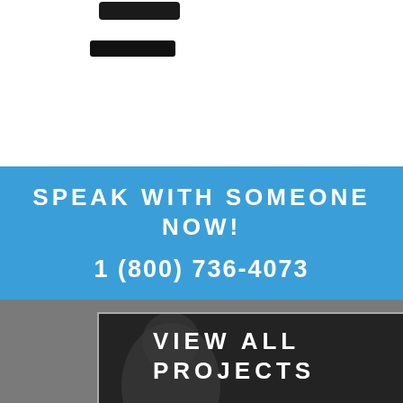[Figure (photo): Partial view of two mobile device tops (black smartphones/tablets) visible at the top of the page against a white background]
SPEAK WITH SOMEONE NOW!
1 (800) 736-4073
[Figure (photo): Dark section with 'VIEW ALL PROJECTS' text overlay on a dark background with a blurred figure, bordered box with gray border, teal chat bubble icon in bottom right corner]